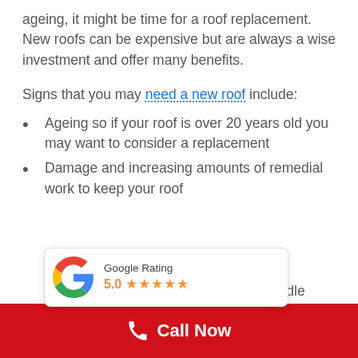ageing, it might be time for a roof replacement. New roofs can be expensive but are always a wise investment and offer many benefits.
Signs that you may need a new roof include:
Ageing so if your roof is over 20 years old you may want to consider a replacement
Damage and increasing amounts of remedial work to keep your roof
[Figure (other): Google Rating widget showing 5.0 stars with the Google G logo]
niddle
Call Now